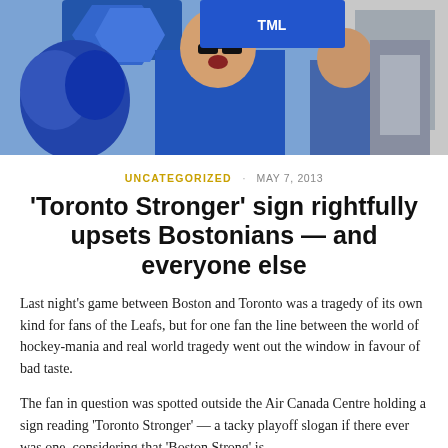[Figure (photo): Toronto Maple Leafs fans dressed in blue outside, one holding a blue sign, wearing blue costumes and sunglasses]
UNCATEGORIZED · MAY 7, 2013
'Toronto Stronger' sign rightfully upsets Bostonians — and everyone else
Last night's game between Boston and Toronto was a tragedy of its own kind for fans of the Leafs, but for one fan the line between the world of hockey-mania and real world tragedy went out the window in favour of bad taste.
The fan in question was spotted outside the Air Canada Centre holding a sign reading 'Toronto Stronger' — a tacky playoff slogan if there ever was one, considering that 'Boston Strong' is